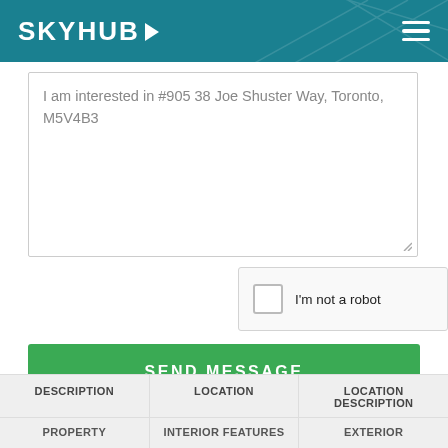[Figure (screenshot): SKYHUB logo with arrow icon and hamburger menu on teal/dark cyan header with geometric pattern overlay]
I am interested in #905 38 Joe Shuster Way, Toronto, M5V4B3
I'm not a robot
SEND MESSAGE
Save
Share
DESCRIPTION
LOCATION
LOCATION DESCRIPTION
PROPERTY
INTERIOR FEATURES
EXTERIOR